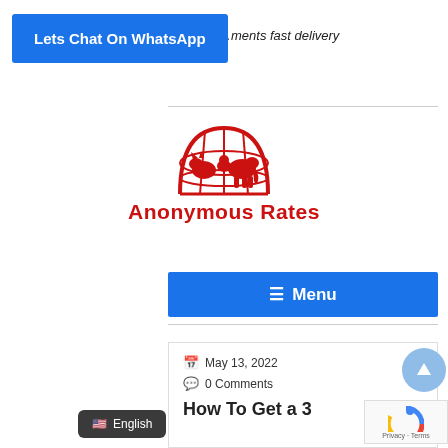…ments fast delivery
[Figure (other): Blue WhatsApp chat button labeled 'Lets Chat On WhatsApp']
[Figure (logo): Anonymous Rates logo: red globe with animals silhouette, text 'Anonymous Rates' in red]
[Figure (other): Blue navigation menu bar with hamburger icon and text 'Menu']
May 13, 2022
0 Comments
How To Get a 3
[Figure (other): Light blue circular scroll-to-top button with upward arrow]
[Figure (other): reCAPTCHA widget with Privacy and Terms text]
English